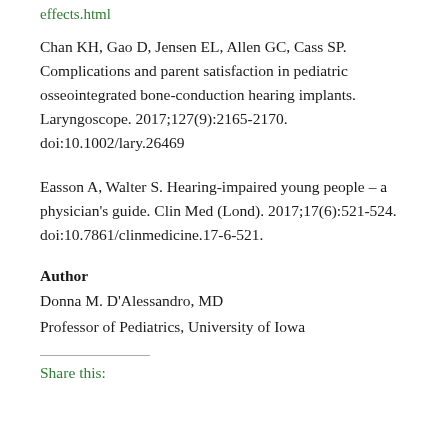effects.html
Chan KH, Gao D, Jensen EL, Allen GC, Cass SP. Complications and parent satisfaction in pediatric osseointegrated bone-conduction hearing implants. Laryngoscope. 2017;127(9):2165-2170. doi:10.1002/lary.26469
Easson A, Walter S. Hearing-impaired young people – a physician's guide. Clin Med (Lond). 2017;17(6):521-524. doi:10.7861/clinmedicine.17-6-521.
Author
Donna M. D'Alessandro, MD
Professor of Pediatrics, University of Iowa
Share this: